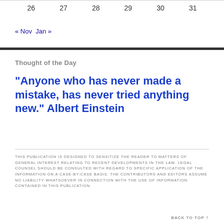| 26 | 27 | 28 | 29 | 30 | 31 |
| --- | --- | --- | --- | --- | --- |
« Nov  Jan »
“Anyone who has never made a mistake, has never tried anything new.” Albert Einstein
Thought of the Day
THIS PUBLICATION IS DESIGNED TO SENSITIZE THE READER TO MATTERS OF GENERAL INTEREST RELATING TO RECENT DEVELOPMENTS IN THE LAW. LEGAL COUNSEL SHOULD BE CONSULTED WITH REGARD TO SPECIFIC APPLICATION OF THE INFORMATION ON A CASE-BY-CASE BASIS. THE CONTRIBUTORS AND EDITORS ASSUME NO LIABILITY WHATSOEVER IN CONNECTION WITH THE USE OF INFORMATION CONTAINED IN THIS PUBLICATION.
BACK TO TOP ↑